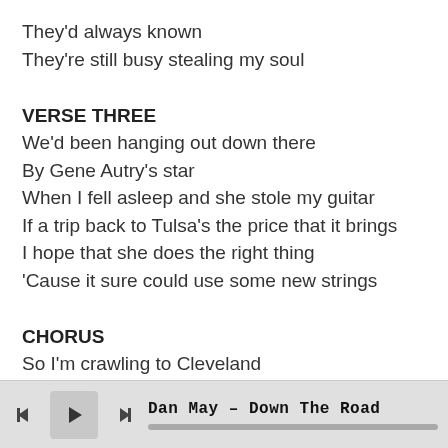They'd always known
They're still busy stealing my soul
VERSE THREE
We'd been hanging out down there
By Gene Autry's star
When I fell asleep and she stole my guitar
If a trip back to Tulsa's the price that it brings
I hope that she does the right thing
'Cause it sure could use some new strings
CHORUS
So I'm crawling to Cleveland
And not turning back
With some things that I saved
Dan May – Down The Road